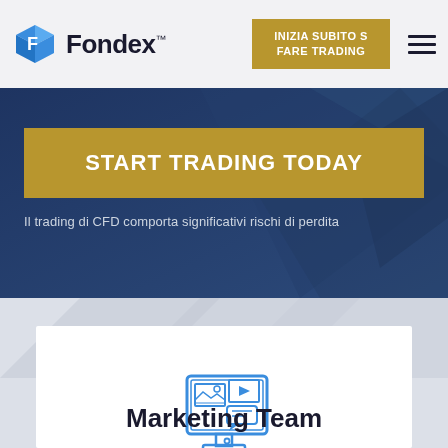[Figure (logo): Fondex logo with blue cube icon and brand name]
INIZIA SUBITO S FARE TRADING
[Figure (illustration): Hamburger menu icon (three horizontal lines)]
START TRADING TODAY
Il trading di CFD comporta significativi rischi di perdita
[Figure (illustration): Blue line-art icon of a computer monitor displaying media/marketing content with speech bubble and video elements]
Marketing Team